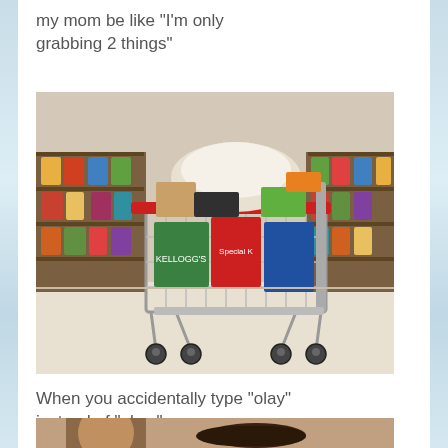my mom be like "I'm only grabbing 2 things"
[Figure (photo): An overloaded shopping cart completely filled with groceries and products in a store aisle]
When you accidentally type "olay" instead of "okay"
[Figure (photo): Partial view of a person, beginning of a second meme image, cropped at bottom of page]